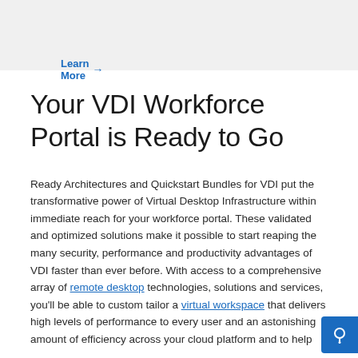Learn More →
Your VDI Workforce Portal is Ready to Go
Ready Architectures and Quickstart Bundles for VDI put the transformative power of Virtual Desktop Infrastructure within immediate reach for your workforce portal. These validated and optimized solutions make it possible to start reaping the many security, performance and productivity advantages of VDI faster than ever before. With access to a comprehensive array of remote desktop technologies, solutions and services, you'll be able to custom tailor a virtual workspace that delivers high levels of performance to every user and an astonishing amount of efficiency across your cloud platform — and to help